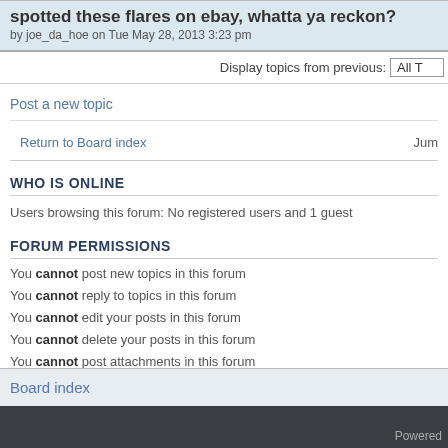spotted these flares on ebay, whatta ya reckon? by joe_da_hoe on Tue May 28, 2013 3:23 pm
Display topics from previous: All T
Post a new topic
Return to Board index   Jum
WHO IS ONLINE
Users browsing this forum: No registered users and 1 guest
FORUM PERMISSIONS
You cannot post new topics in this forum
You cannot reply to topics in this forum
You cannot edit your posts in this forum
You cannot delete your posts in this forum
You cannot post attachments in this forum
Board index
Powered